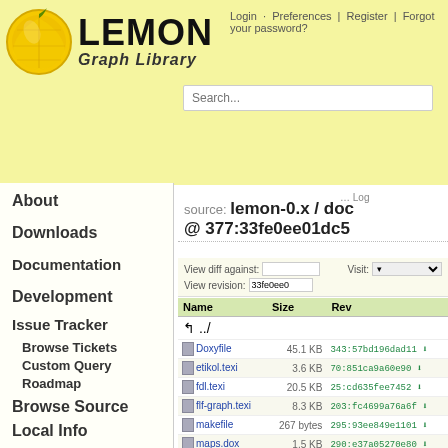[Figure (logo): Lemon Graph Library logo with lemon icon and bold LEMON text with Graph Library subtitle]
Login · Preferences | Register | Forgot your password?
source: lemon-0.x / doc @ 377:33fe0ee01dc5
View diff against: [input] Visit: [dropdown] View revision: 33fe0ee0
| Name | Size | Rev |
| --- | --- | --- |
| ../ |  |  |
| Doxyfile | 45.1 KB | 343:57bd196dad11 |
| etikol.texi | 3.6 KB | 70:851ca9a60e90 |
| fdl.texi | 20.5 KB | 25:cd635fee7452 |
| flf-graph.texi | 8.3 KB | 203:fc4699a76a6f |
| makefile | 267 bytes | 295:93ee849e1101 |
| maps.dox | 1.5 KB | 290:e37a05270e80 |
| texinfo.tex | 211.4 KB | 18:7c88989ea45b |
| version.texi | 37 bytes | 25:cd635fee7452 |
About
Downloads
Documentation
Development
Issue Tracker
Browse Tickets
Custom Query
Roadmap
Browse Source
Local Info
Mailing Lists